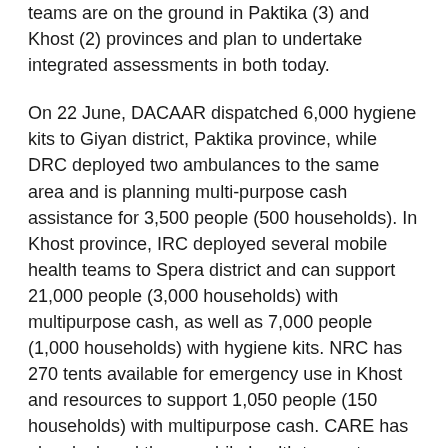teams are on the ground in Paktika (3) and Khost (2) provinces and plan to undertake integrated assessments in both today.
On 22 June, DACAAR dispatched 6,000 hygiene kits to Giyan district, Paktika province, while DRC deployed two ambulances to the same area and is planning multi-purpose cash assistance for 3,500 people (500 households). In Khost province, IRC deployed several mobile health teams to Spera district and can support 21,000 people (3,000 households) with multipurpose cash, as well as 7,000 people (1,000 households) with hygiene kits. NRC has 270 tents available for emergency use in Khost and resources to support 1,050 people (150 households) with multipurpose cash. CARE has also deployed three mobile health teams to Khost. Across both Khost and Paktika provinces, HALO Trust has provided deployed ambulances, medical supplies and medical staff.
Further, the Afghanistan Humanitarian Fund (AHF) has